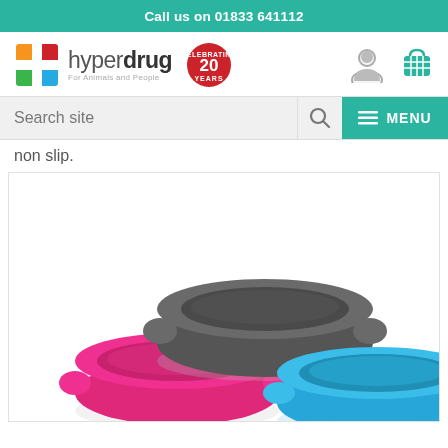Call us on 01833 641112
[Figure (logo): Hyperdrug logo with colorful cross icon, '20 YEARS CELEBRATING' badge, tagline 'For Animals and People', and user/cart icons]
Search site
non slip.
[Figure (photo): Three pet food/water bowls in pink, dark grey, and light blue colors arranged overlapping on white background]